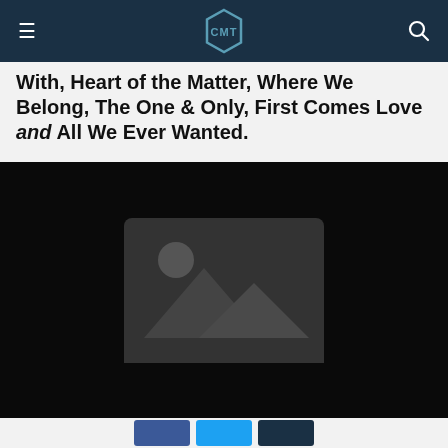CMT
With, Heart of the Matter, Where We Belong, The One & Only, First Comes Love and All We Ever Wanted.
[Figure (photo): Black background with a grey placeholder image icon (mountain/landscape silhouette with sun) in the center]
[Figure (infographic): Social share buttons: Facebook (dark blue), Twitter (light blue), and a dark button]